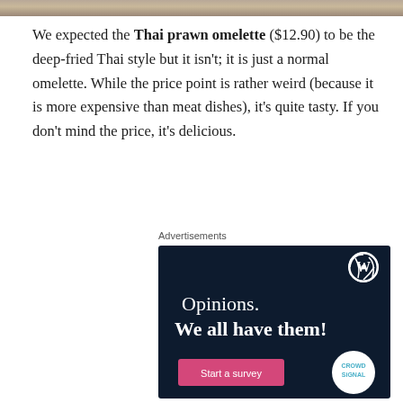[Figure (photo): Partial photo strip at the top of the page showing a food image]
We expected the Thai prawn omelette ($12.90) to be the deep-fried Thai style but it isn't; it is just a normal omelette. While the price point is rather weird (because it is more expensive than meat dishes), it's quite tasty. If you don't mind the price, it's delicious.
Advertisements
[Figure (other): WordPress/CrowdSignal advertisement with dark navy background, WordPress logo, text 'Opinions. We all have them!', a pink 'Start a survey' button, and CrowdSignal logo]